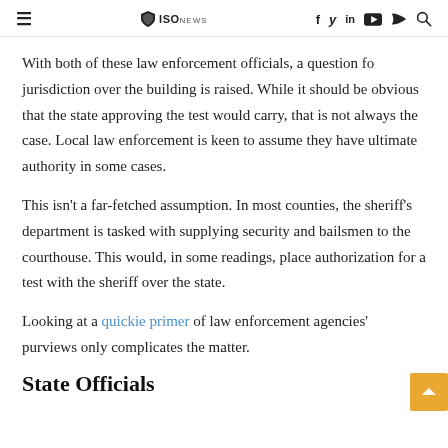≡  ISONEWS  f  in  ▶  ⊃  🔍
With both of these law enforcement officials, a question fo jurisdiction over the building is raised. While it should be obvious that the state approving the test would carry, that is not always the case. Local law enforcement is keen to assume they have ultimate authority in some cases.
This isn't a far-fetched assumption. In most counties, the sheriff's department is tasked with supplying security and bailsmen to the courthouse. This would, in some readings, place authorization for a test with the sheriff over the state.
Looking at a quickie primer of law enforcement agencies' purviews only complicates the matter.
State Officials